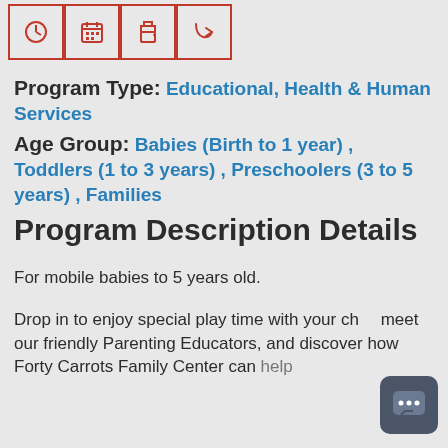[Figure (infographic): Four icon buttons in a row: clock/history icon, calendar icon, print icon, share/forward icon — each in a red-bordered box]
Program Type: Educational, Health & Human Services
Age Group: Babies (Birth to 1 year) , Toddlers (1 to 3 years) , Preschoolers (3 to 5 years) , Families
Program Description Details
For mobile babies to 5 years old.
Drop in to enjoy special play time with your child, meet our friendly Parenting Educators, and discover how Forty Carrots Family Center can help